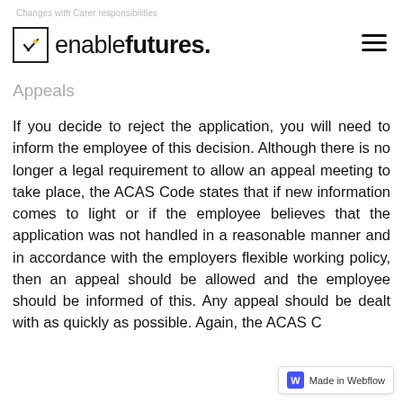Changes with Carer responsibilities
[Figure (logo): Enable Futures logo with checkmark box icon and hamburger menu icon]
Appeals
If you decide to reject the application, you will need to inform the employee of this decision. Although there is no longer a legal requirement to allow an appeal meeting to take place, the ACAS Code states that if new information comes to light or if the employee believes that the application was not handled in a reasonable manner and in accordance with the employers flexible working policy, then an appeal should be allowed and the employee should be informed of this. Any appeal should be dealt with as quickly as possible. Again, the ACAS Code states that